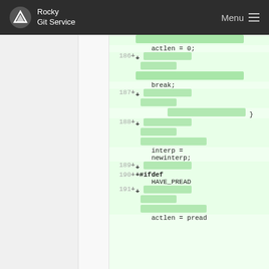Rocky Git Service  Menu
[Figure (screenshot): Git diff view showing code lines 186-191 with green highlighted additions. Lines show: actlen = 0; (line 186 +), break; (line 187 +), } (line 188 +), interp = newinterp; (line 189 +), +#ifdef HAVE_PREAD (line 190 +), + (line 191 +), partial actlen = pread at bottom]